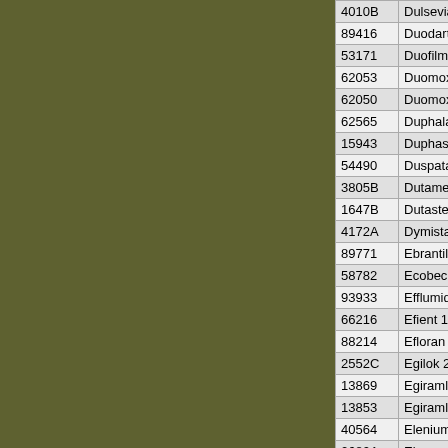| Code | Name |
| --- | --- |
| 4010B | Dulsevia 30 |
| 89416 | Duodart 0,5 |
| 53171 | Duofilm 15m |
| 62053 | Duomox 375 |
| 62050 | Duomox 500 |
| 62565 | Duphalac 50 |
| 15943 | Duphaston |
| 54490 | Duspatalin 2 |
| 3805B | Dutamed 0, |
| 1647B | Dutasterid 0 |
| 4172A | Dymista 230 |
| 89771 | Ebrantil 60m |
| 58782 | Ecobec 250 |
| 93933 | Efflumidex 5 |
| 66216 | Efient 10mg |
| 88214 | Efloran 100 |
| 2552C | Egilok 25mg |
| 13869 | Egiramlon 1 |
| 13853 | Egiramlon 5 |
| 40564 | Elenium 10m |
| 0680A | Eleveon 25m |
| 79137 | Elicea 10mg |
| 79138 | Elicea 10mg |
| 3808A | Eliquis 2,5m |
| 08364 | Eliquis 2,5m |